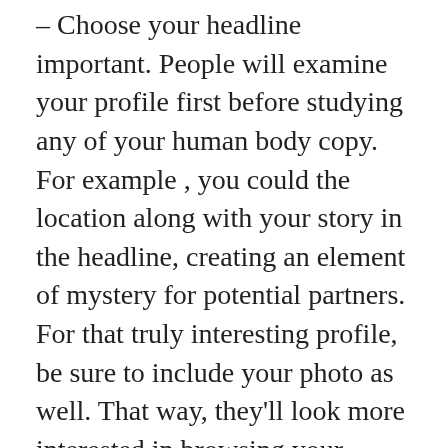– Choose your headline important. People will examine your profile first before studying any of your human body copy. For example , you could the location along with your story in the headline, creating an element of mystery for potential partners. For that truly interesting profile, be sure to include your photo as well. That way, they'll look more interested in browsing your profile. By using a subject that charms the interest of potential associates, you will attract more matches.
– Captivate personality. Men absolutely adore attractive girls using a diverse